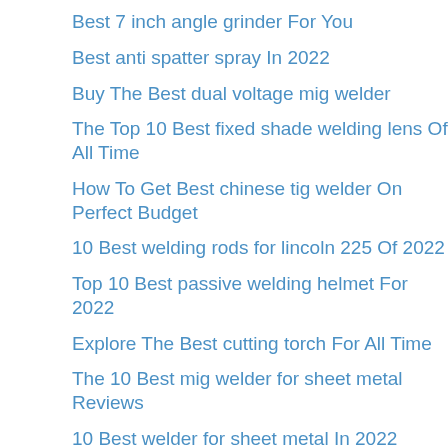Best 7 inch angle grinder For You
Best anti spatter spray In 2022
Buy The Best dual voltage mig welder
The Top 10 Best fixed shade welding lens Of All Time
How To Get Best chinese tig welder On Perfect Budget
10 Best welding rods for lincoln 225 Of 2022
Top 10 Best passive welding helmet For 2022
Explore The Best cutting torch For All Time
The 10 Best mig welder for sheet metal Reviews
10 Best welder for sheet metal In 2022
The Best knee pads – A Buyer'S Guide
The Best Types Of 2×4 auto darkening welding lens
The Best welding helmet under 200 – A Buyer'S